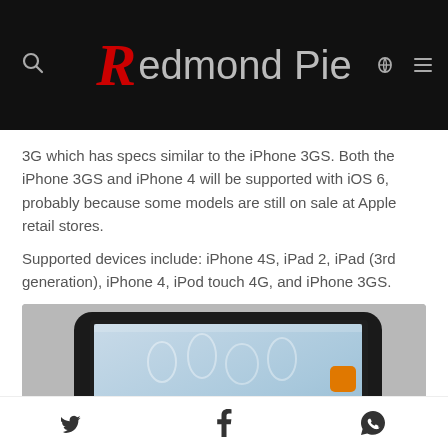Redmond Pie
3G which has specs similar to the iPhone 3GS. Both the iPhone 3GS and iPhone 4 will be supported with iOS 6, probably because some models are still on sale at Apple retail stores.
Supported devices include: iPhone 4S, iPad 2, iPad (3rd generation), iPhone 4, iPod touch 4G, and iPhone 3GS.
[Figure (photo): iPad tablet device showing iOS home screen with Newsstand app visible, raindrop-style wallpaper, displayed on a gray background]
Social share icons: Twitter, Facebook, WhatsApp